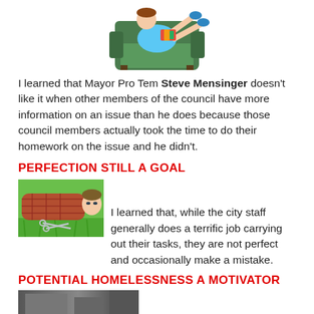[Figure (illustration): Cartoon illustration of a person relaxing on a green armchair with legs up, wearing colorful clothes]
I learned that Mayor Pro Tem Steve Mensinger doesn't like it when other members of the council have more information on an issue than he does because those council members actually took the time to do their homework on the issue and he didn't.
PERFECTION STILL A GOAL
[Figure (photo): Photo of a man lying on grass closely examining it with scissors, wearing a plaid shirt]
I learned that, while the city staff generally does a terrific job carrying out their tasks, they are not perfect and occasionally make a mistake.
POTENTIAL HOMELESSNESS A MOTIVATOR
[Figure (photo): Partial photo at bottom of page showing the beginning of another image]